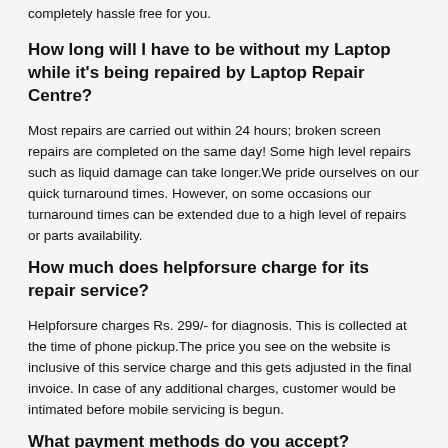completely hassle free for you.
How long will I have to be without my Laptop while it's being repaired by Laptop Repair Centre?
Most repairs are carried out within 24 hours; broken screen repairs are completed on the same day! Some high level repairs such as liquid damage can take longer.We pride ourselves on our quick turnaround times. However, on some occasions our turnaround times can be extended due to a high level of repairs or parts availability.
How much does helpforsure charge for its repair service?
Helpforsure charges Rs. 299/- for diagnosis. This is collected at the time of phone pickup.The price you see on the website is inclusive of this service charge and this gets adjusted in the final invoice. In case of any additional charges, customer would be intimated before mobile servicing is begun.
What payment methods do you accept?
We have several payment options: 1). Cash on delivery, 2).